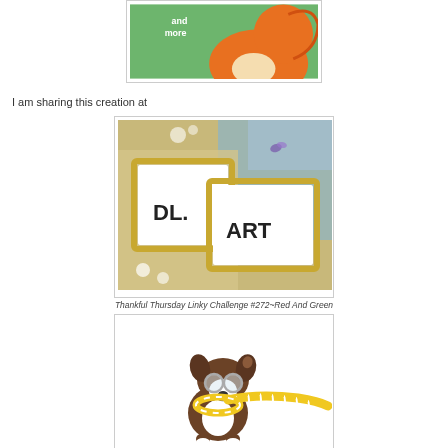[Figure (illustration): Partial illustration of an orange fox/squirrel character on a green background with text 'and more']
I am sharing this creation at
[Figure (illustration): DL.ART logo image showing decorative frames with 'DL.' and 'ART' text, collage style background]
Thankful Thursday Linky Challenge #272~Red And Green
[Figure (illustration): Cartoon dog (Boston Terrier) wearing glasses and holding a long yellow and white striped scarf]